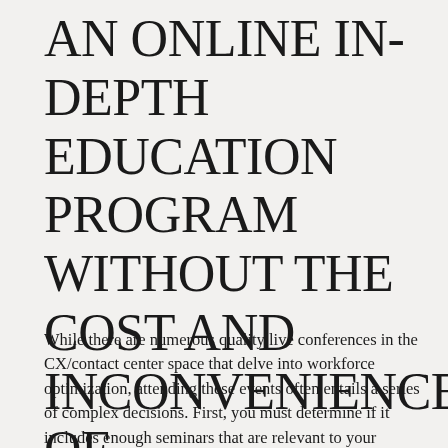AN ONLINE IN-DEPTH EDUCATION PROGRAM WITHOUT THE COST AND INCONVENIENCE OF TRADITIONAL LIVE CONFERENCES
While there are numerous quality live conferences in the CX/contact center space that delve into workforce optimization, attending these events often entails a series of complex decisions. First, you must determine if it includes enough seminars that are relevant to your specific needs and exhibitors with the right solutions to advance your program